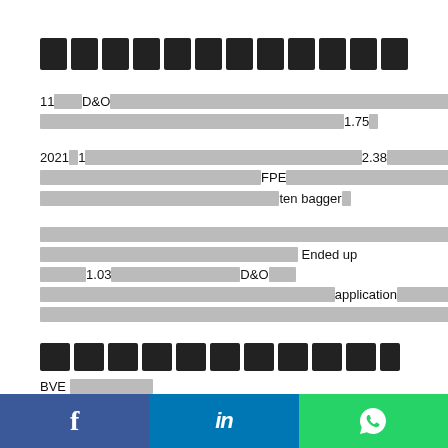[Thai title text - blocked]
11[chars]D&O[chars] 1.75[char]
2021[char]1[chars] 2.38[chars] FPE[chars] ten bagger[char]
[chars] Ended up [chars]1.03[chars]D&O[chars] application[chars]
[Thai section header - blocked]
BVE [chars]